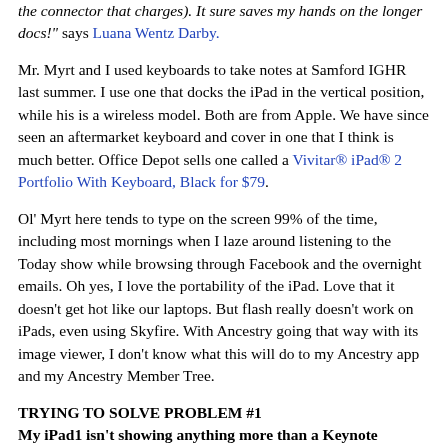the connector that charges). It sure saves my hands on the longer docs!" says Luana Wentz Darby.
Mr. Myrt and I used keyboards to take notes at Samford IGHR last summer. I use one that docks the iPad in the vertical position, while his is a wireless model. Both are from Apple. We have since seen an aftermarket keyboard and cover in one that I think is much better. Office Depot sells one called a Vivitar® iPad® 2 Portfolio With Keyboard, Black for $79.
Ol' Myrt here tends to type on the screen 99% of the time, including most mornings when I laze around listening to the Today show while browsing through Facebook and the overnight emails. Oh yes, I love the portability of the iPad. Love that it doesn't get hot like our laptops. But flash really doesn't work on iPads, even using Skyfire. With Ancestry going that way with its image viewer, I don't know what this will do to my Ancestry app and my Ancestry Member Tree.
TRYING TO SOLVE PROBLEM #1
My iPad1 isn't showing anything more than a Keynote presentation through the HDMI connection to the F...